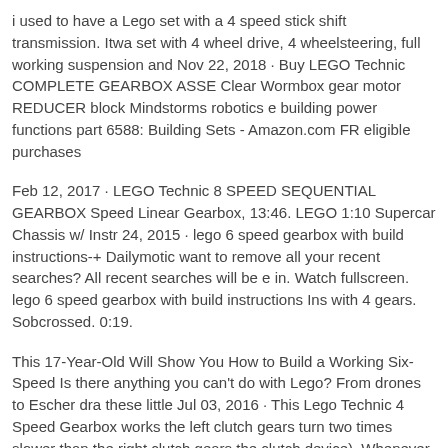i used to have a Lego set with a 4 speed stick shift transmission. Itwa set with 4 wheel drive, 4 wheelsteering, full working suspension and Nov 22, 2018 · Buy LEGO Technic COMPLETE GEARBOX ASSE Clear Wormbox gear motor REDUCER block Mindstorms robotics e building power functions part 6588: Building Sets - Amazon.com FR eligible purchases
Feb 12, 2017 · LEGO Technic 8 SPEED SEQUENTIAL GEARBOX Speed Linear Gearbox, 13:46. LEGO 1:10 Supercar Chassis w/ Instr 24, 2015 · lego 6 speed gearbox with build instructions-+ Dailymotic want to remove all your recent searches? All recent searches will be e in. Watch fullscreen. lego 6 speed gearbox with build instructions Ins with 4 gears. Sobcrossed. 0:19.
This 17-Year-Old Will Show You How to Build a Working Six-Speed Is there anything you can't do with Lego? From drones to Escher dra these little Jul 03, 2016 · This Lego Technic 4 Speed Gearbox works the left clutch gears turn two times slower than the right clutch gears the clutch device). Whenever